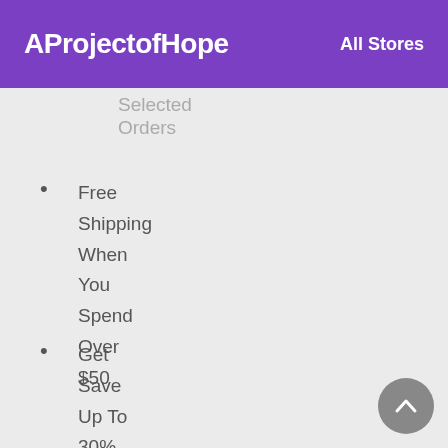AProjectofHope   All Stores
Selected Orders
Free Shipping When You Spend Over $50
Get Save Up To 30% Off Entire Purchase